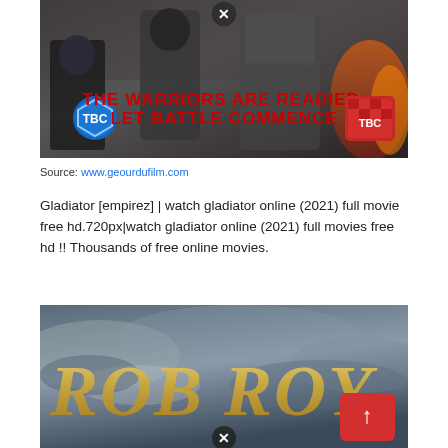[Figure (photo): Movie promotional banner for a gladiator film showing warriors in battle with text 'THE WARRIORS ARE READIED. LET BATTLE COMMENCE' and TBC rating logos on both sides. A close button (X) appears at top center.]
Source: www.geourdufilm.com
Gladiator [empirez] | watch gladiator online (2021) full movie free hd.720px|watch gladiator online (2021) full movies free hd !! Thousands of free online movies.
[Figure (photo): Movie title card for 'ROB ROY' with golden stylized text on a dramatic cloudy sky background. A red button with an upward arrow appears in the lower right, and a close button (X) at the bottom center.]